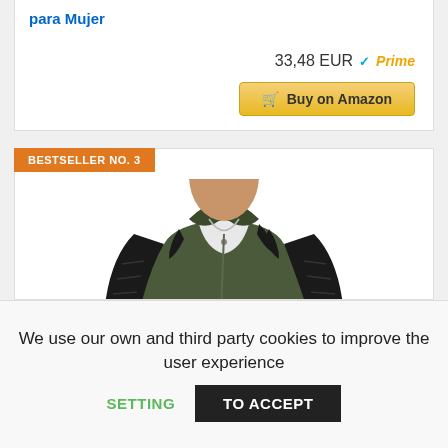para Mujer
33,48 EUR ✓Prime
🛒 Buy on Amazon
BESTSELLER NO. 3
[Figure (photo): Man wearing an olive green and black leather biker jacket with white undershirt and jeans]
We use our own and third party cookies to improve the user experience
SETTING
TO ACCEPT